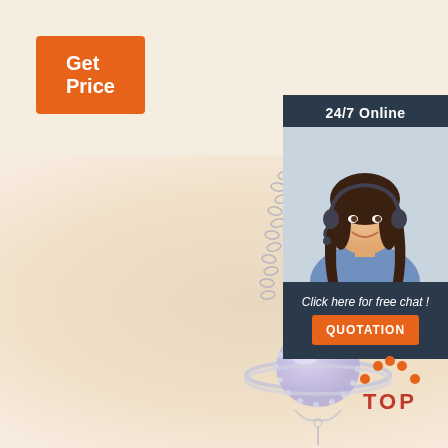Get Price
[Figure (photo): Silver planet/Saturn-shaped necklace pendant with light purple gemstone and crystal ring, on a silver chain, against a soft beige background]
24/7 Online
[Figure (photo): Customer service agent woman with headset, smiling, wearing a blue shirt]
Click here for free chat !
QUOTATION
[Figure (illustration): TOP badge with orange dots arranged in an arch above the word TOP in red bold letters]